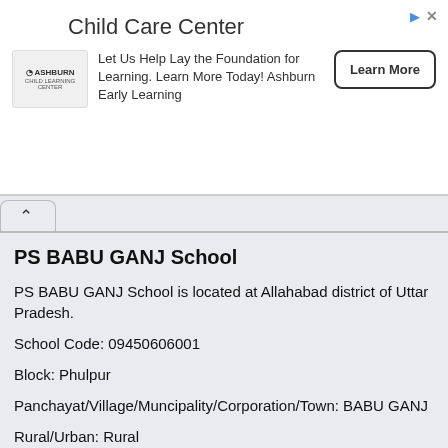[Figure (other): Advertisement banner for Ashburn Child Care Center with logo, description text, and Learn More button]
PS BABU GANJ School
PS BABU GANJ School is located at Allahabad district of Uttar Pradesh.
School Code: 09450606001
Block: Phulpur
Panchayat/Village/Muncipality/Corporation/Town: BABU GANJ
Rural/Urban: Rural
School Category: Primary
School Management: Department of Education